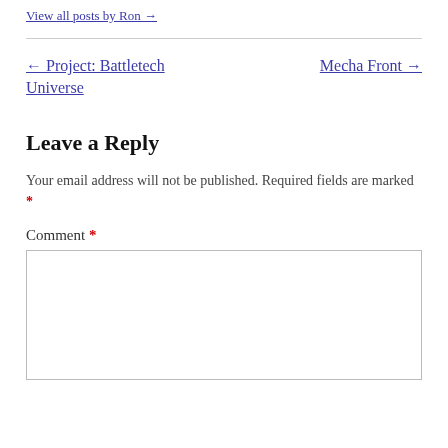View all posts by Ron →
← Project: Battletech Universe
Mecha Front →
Leave a Reply
Your email address will not be published. Required fields are marked *
Comment *